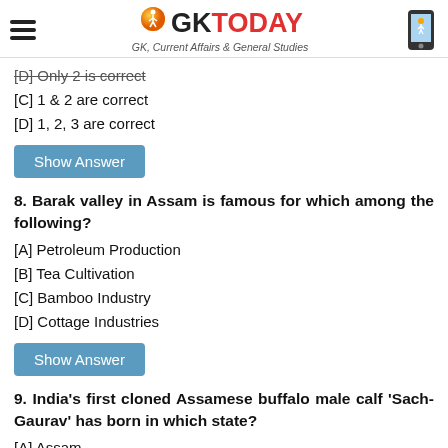GK TODAY - GK, Current Affairs & General Studies
[D] Only 2 is correct
[C] 1 & 2 are correct
[D] 1, 2, 3 are correct
Show Answer
8. Barak valley in Assam is famous for which among the following?
[A] Petroleum Production
[B] Tea Cultivation
[C] Bamboo Industry
[D] Cottage Industries
Show Answer
9. India's first cloned Assamese buffalo male calf 'Sach-Gaurav' has born in which state?
[A] Assam
[B] Punjab